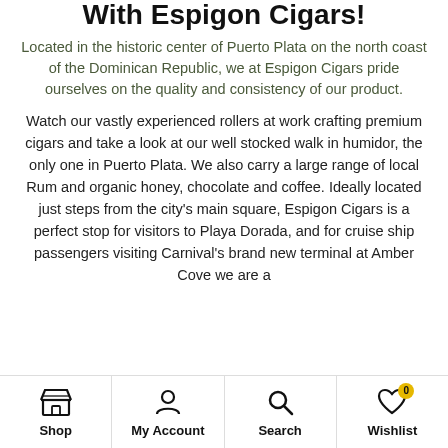With Espigon Cigars!
Located in the historic center of Puerto Plata on the north coast of the Dominican Republic, we at Espigon Cigars pride ourselves on the quality and consistency of our product.
Watch our vastly experienced rollers at work crafting premium cigars and take a look at our well stocked walk in humidor, the only one in Puerto Plata. We also carry a large range of local Rum and organic honey, chocolate and coffee. Ideally located just steps from the city's main square, Espigon Cigars is a perfect stop for visitors to Playa Dorada, and for cruise ship passengers visiting Carnival's brand new terminal at Amber Cove we are a
Shop | My Account | Search | Wishlist